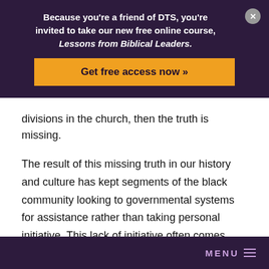Because you're a friend of DTS, you're invited to take our new free online course, Lessons from Biblical Leaders.
Get free access now »
divisions in the church, then the truth is missing.
The result of this missing truth in our history and culture has kept segments of the black community looking to governmental systems for assistance rather than taking personal initiative. This lack of initiative often comes cradled in a victim mentality where racism is blamed for many more things than it should be.
MENU